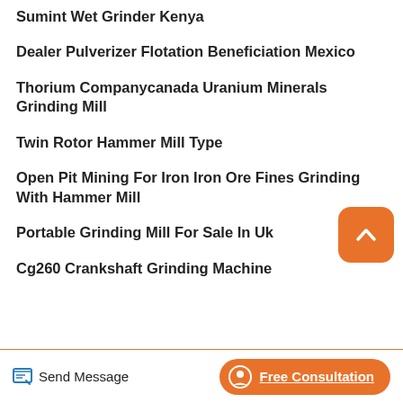Sumint Wet Grinder Kenya
Dealer Pulverizer Flotation Beneficiation Mexico
Thorium Companycanada Uranium Minerals Grinding Mill
Twin Rotor Hammer Mill Type
Open Pit Mining For Iron Iron Ore Fines Grinding With Hammer Mill
Portable Grinding Mill For Sale In Uk
Cg260 Crankshaft Grinding Machine
Send Message   Free Consultation